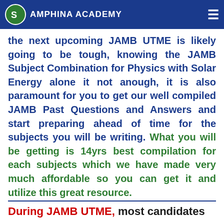AMPHINA ACADEMY
the next upcoming JAMB UTME is likely going to be tough, knowing the JAMB Subject Combination for Physics with Solar Energy alone it not anough, it is also paramount for you to get our well compiled JAMB Past Questions and Answers and start preparing ahead of time for the subjects you will be writing. What you will be getting is 14yrs best compilation for each subjects which we have made very much affordable so you can get it and utilize this great resource.
During JAMB UTME, most candidates